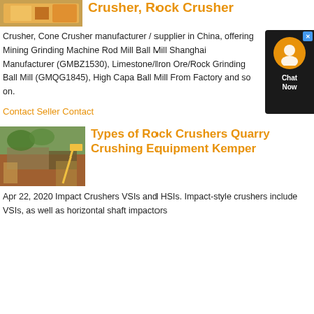[Figure (photo): Image of yellow industrial crusher/mill equipment on orange background]
Crusher, Rock Crusher
Crusher, Cone Crusher manufacturer / supplier in China, offering Mining Grinding Machine Rod Mill Ball Mill Shanghai Manufacturer (GMBZ1530), Limestone/Iron Ore/Rock Grinding Ball Mill (GMQG1845), High Capa Ball Mill From Factory and so on.
Contact Seller Contact
[Figure (photo): Aerial/ground view of a quarry rock crushing site with heavy equipment and excavators]
Types of Rock Crushers Quarry Crushing Equipment Kemper
Apr 22, 2020 Impact Crushers VSIs and HSIs. Impact-style crushers include VSIs, as well as horizontal shaft impactors